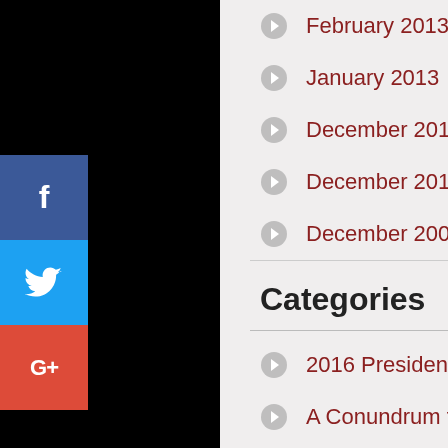February 2013
January 2013
December 2012
December 2011
December 2002
Categories
2016 Presidential Election
A Conundrum that has No Easy Answers
Adequate Gun control laws needed to protect the well-being of our citizens
American Foreign Policy Re: